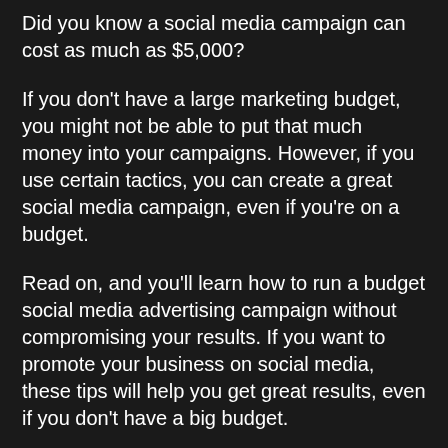Did you know a social media campaign can cost as much as $5,000?
If you don't have a large marketing budget, you might not be able to put that much money into your campaigns. However, if you use certain tactics, you can create a great social media campaign, even if you're on a budget.
Read on, and you'll learn how to run a budget social media advertising campaign without compromising your results. If you want to promote your business on social media, these tips will help you get great results, even if you don't have a big budget.
Let's begin discussing your social media advertising campaign strategy!